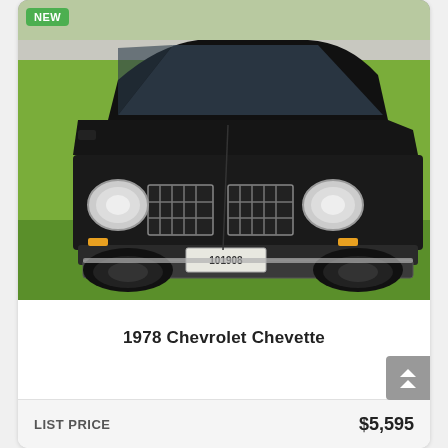[Figure (photo): Front view of a black 1978 Chevrolet Chevette parked on grass. License plate reads 101908. A green 'NEW' badge is visible in the top-left corner of the photo.]
1978 Chevrolet Chevette
LIST PRICE   $5,595